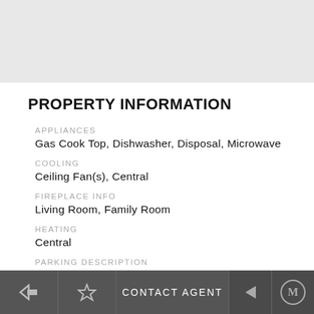[Figure (photo): Gray placeholder area representing a property photo at the top of the page]
PROPERTY INFORMATION
APPLIANCES
Gas Cook Top, Dishwasher, Disposal, Microwave
COOLING
Ceiling Fan(s), Central
FIREPLACE INFO
Living Room, Family Room
HEATING
Central
PARKING DESCRIPTION
CONTACT AGENT